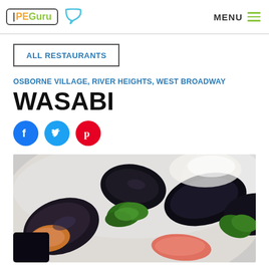IPEGuru | MENU
ALL RESTAURANTS
OSBORNE VILLAGE, RIVER HEIGHTS, WEST BROADWAY
WASABI
[Figure (photo): Close-up photo of mussels in a white bowl with cilantro garnish and other seafood]
[Figure (other): Social media icons: Facebook (blue), Twitter (light blue), Pinterest (red)]